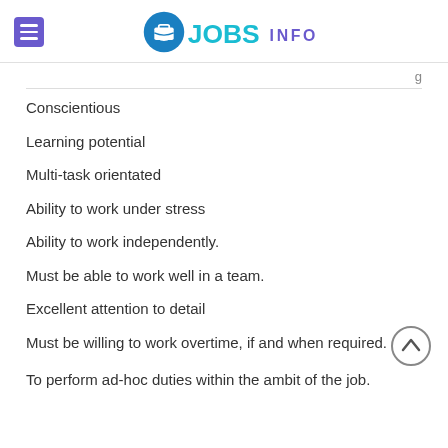JOBS INFO
Conscientious
Learning potential
Multi-task orientated
Ability to work under stress
Ability to work independently.
Must be able to work well in a team.
Excellent attention to detail
Must be willing to work overtime, if and when required.
To perform ad-hoc duties within the ambit of the job.